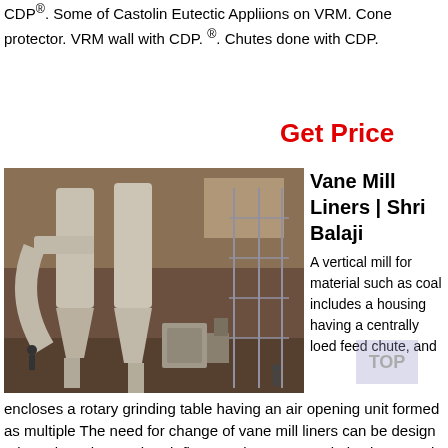CDP®. Some of Castolin Eutectic Appliions on VRM. Cone protector. VRM wall with CDP. ®. Chutes done with CDP.
Get Price
[Figure (photo): Industrial vertical roller mill (VRM) equipment inside a factory building, showing large cyclone separators, grinding mill body, and structural scaffolding.]
Vane Mill Liners | Shri Balaji
A vertical mill for material such as coal includes a housing having a centrally loed feed chute, and encloses a rotary grinding table having an air opening unit formed as multiple The need for change of vane mill liners can be design oriented, to change the air flow requirements, and also because it is a wearable part.